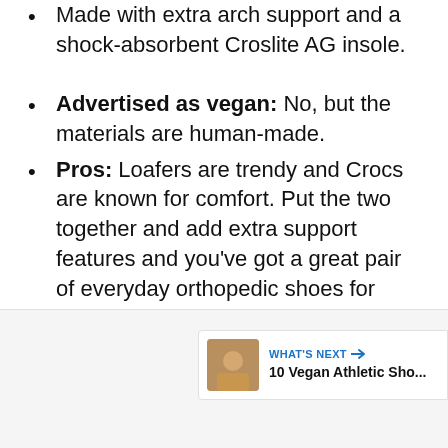Made with extra arch support and a shock-absorbent Croslite AG insole.
Advertised as vegan: No, but the materials are human-made.
Pros: Loafers are trendy and Crocs are known for comfort. Put the two together and add extra support features and you've got a great pair of everyday orthopedic shoes for summer.
Cons: They're non-adjustable.
[Figure (other): UI widget panel at bottom of screen showing WHAT'S NEXT arrow with '10 Vegan Athletic Sho...' link, a heart/favorite button and a share button]